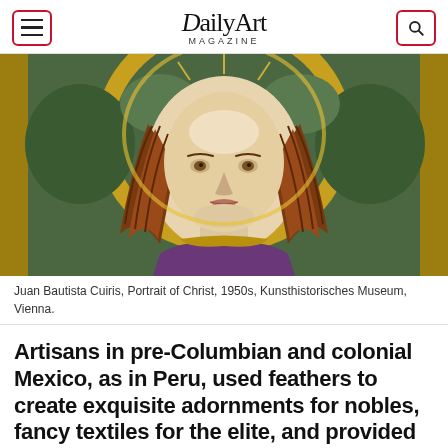DailyArt Magazine
[Figure (illustration): Close-up portrait painting of Christ with long auburn hair and golden halo, Byzantine-style art, colorful mosaic-like background]
Juan Bautista Cuiris, Portrait of Christ, 1950s, Kunsthistorisches Museum, Vienna.
Artisans in pre-Columbian and colonial Mexico, as in Peru, used feathers to create exquisite adornments for nobles, fancy textiles for the elite, and provided feather embellishments for the shields and military costumes of the